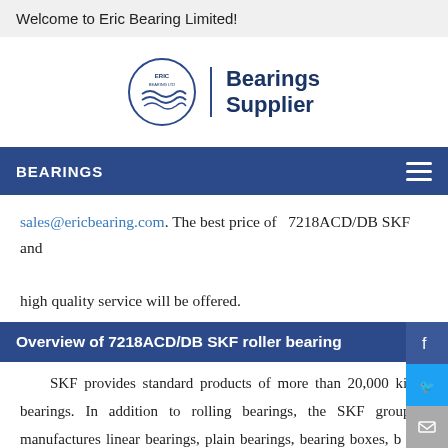Welcome to Eric Bearing Limited!
[Figure (logo): Eric Bearing Ltd logo with circular emblem and 'Bearings Supplier' text in navy blue]
BEARINGS
sales@ericbearing.com. The best price of  7218ACD/DB SKF and high quality service will be offered.
Overview of 7218ACD/DB SKF roller bearing
SKF provides standard products of more than 20,000 kinds bearings. In addition to rolling bearings, the SKF group a manufactures linear bearings, plain bearings, bearing boxes, b and roller screws, textile machinery parts, retaining rings, mach tools and various precision machinery parts. With extensive experience in these fields, he has the knowledge and expertise